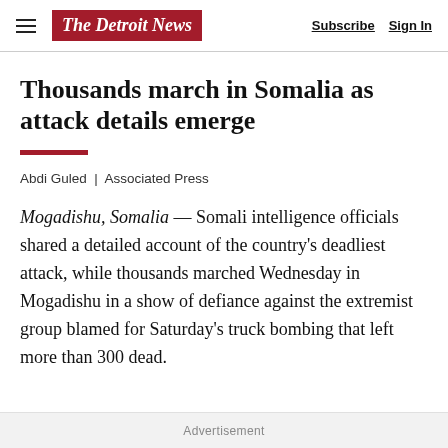The Detroit News | Subscribe  Sign In
Thousands march in Somalia as attack details emerge
Abdi Guled | Associated Press
Mogadishu, Somalia — Somali intelligence officials shared a detailed account of the country's deadliest attack, while thousands marched Wednesday in Mogadishu in a show of defiance against the extremist group blamed for Saturday's truck bombing that left more than 300 dead.
Advertisement